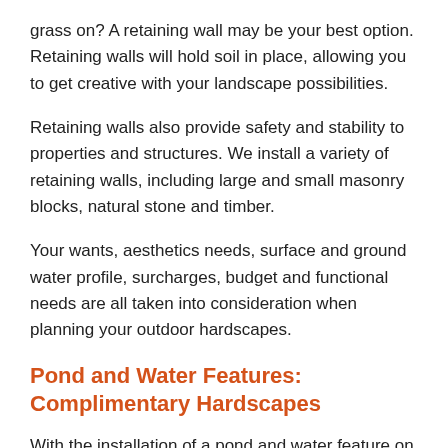grass on? A retaining wall may be your best option. Retaining walls will hold soil in place, allowing you to get creative with your landscape possibilities.
Retaining walls also provide safety and stability to properties and structures. We install a variety of retaining walls, including large and small masonry blocks, natural stone and timber.
Your wants, aesthetics needs, surface and ground water profile, surcharges, budget and functional needs are all taken into consideration when planning your outdoor hardscapes.
Pond and Water Features: Complimentary Hardscapes
With the installation of a pond and water feature on your property, you can create a space that inspires tranquility and